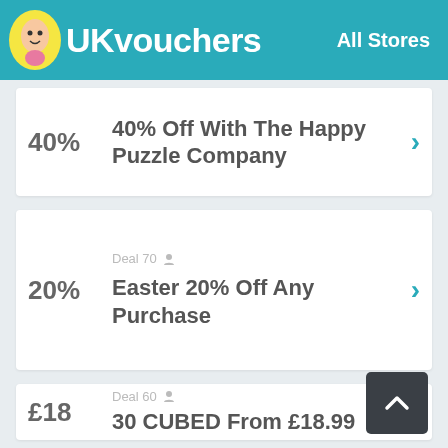UKvouchers — All Stores
40% — 40% Off With The Happy Puzzle Company
Deal 70 — Easter 20% Off Any Purchase
Deal 60 — 30 CUBED From £18.99